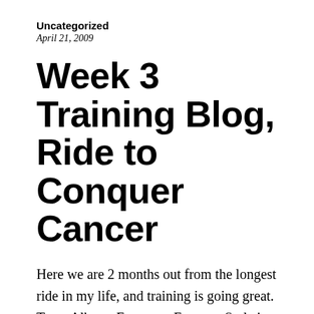Uncategorized
April 21, 2009
Week 3 Training Blog, Ride to Conquer Cancer
Here we are 2 months out from the longest ride in my life, and training is going great.  Team Alberto European Extreme Style is coming together well on both the riding and fundraising fronts.  We are up to 25 riders now and with another $7,000 coming in from sponsors via mail we should be in [...]